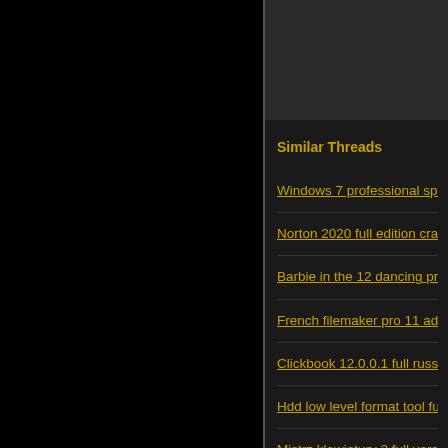Similar Threads
Windows 7 professional spolszcze
Norton 2020 full edition crack
Barbie in the 12 dancing princesse
French filemaker pro 11 advanced
Clickbook 12.0.0.1 full russia
Hdd low level format tool full espa
Mistrz klawiatury 2 full version dow
Windows media player dolby surro
Driver genius pro v8 0 316 full